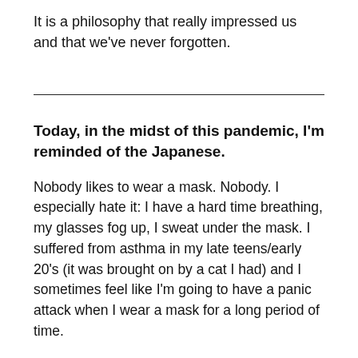It is a philosophy that really impressed us and that we've never forgotten.
Today, in the midst of this pandemic, I'm reminded of the Japanese.
Nobody likes to wear a mask. Nobody. I especially hate it: I have a hard time breathing, my glasses fog up, I sweat under the mask. I suffered from asthma in my late teens/early 20's (it was brought on by a cat I had) and I sometimes feel like I'm going to have a panic attack when I wear a mask for a long period of time.